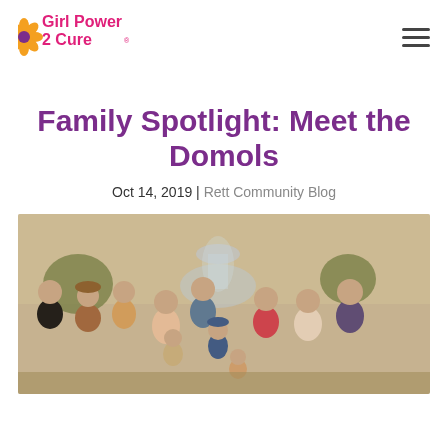[Figure (logo): Girl Power 2 Cure logo with pink text and orange flower icon]
Family Spotlight: Meet the Domols
Oct 14, 2019 | Rett Community Blog
[Figure (photo): Group family photo of approximately 12 people standing outdoors near a fountain at dusk]